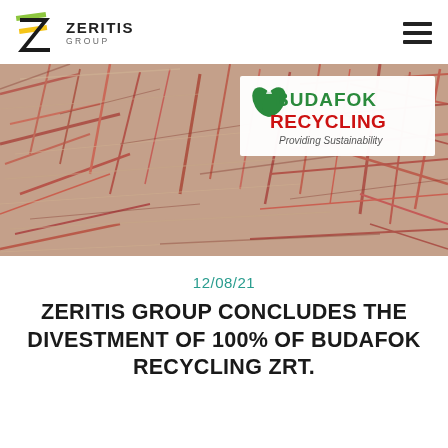[Figure (logo): Zeritis Group logo with stylized Z icon and company name]
[Figure (photo): Hero image showing shredded copper wire scrap material with Budafok Recycling logo badge overlay]
12/08/21
ZERITIS GROUP CONCLUDES THE DIVESTMENT OF 100% OF BUDAFOK RECYCLING ZRT.